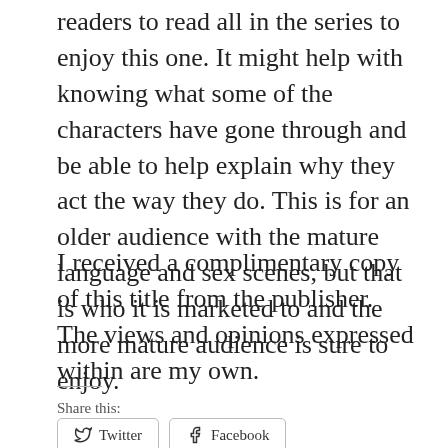readers to read all in the series to enjoy this one. It might help with knowing what some of the characters have gone through and be able to help explain why they act the way they do. This is for an older audience with the mature language and sex scenes, but that is who it is marketed to and the more mature audience is sure to enjoy.
I received a complimentary copy of this title from the publisher. The views and opinions expressed within are my own.
Share this:
Twitter
Facebook
Like
[Figure (other): Three small avatar/thumbnail images of blog likers]
3 bloggers like this.